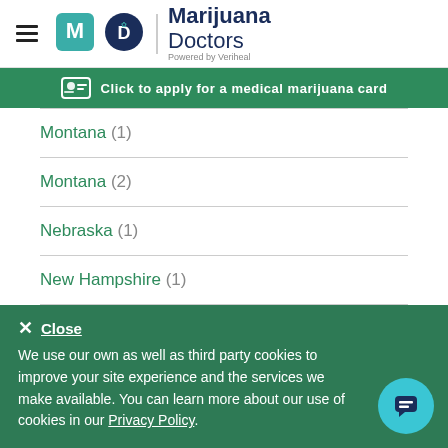[Figure (logo): Marijuana Doctors logo with MD icon and 'Powered by Veriheal' tagline]
Click to apply for a medical marijuana card
Montana (1)
Montana (2)
Nebraska (1)
New Hampshire (1)
New Jersey (3)
We use our own as well as third party cookies to improve your site experience and the services we make available. You can learn more about our use of cookies in our Privacy Policy.